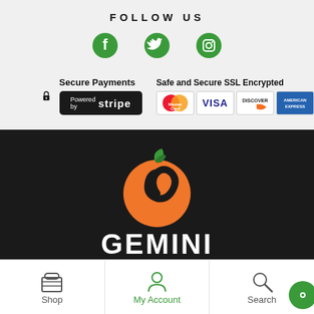FOLLOW US
[Figure (illustration): Social media icons: Facebook, Twitter, Instagram in green]
[Figure (illustration): Secure Payments section with padlock icon, Powered by Stripe badge, Safe and Secure SSL Encrypted label, and credit card logos: MasterCard, Visa, Discover, American Express]
[Figure (logo): Gemini Foods logo: orange peach with green leaf and spiral, with text GEMINI on dark background]
[Figure (infographic): Bottom navigation bar with Shop, My Account, Search icons, and green chat bubble]